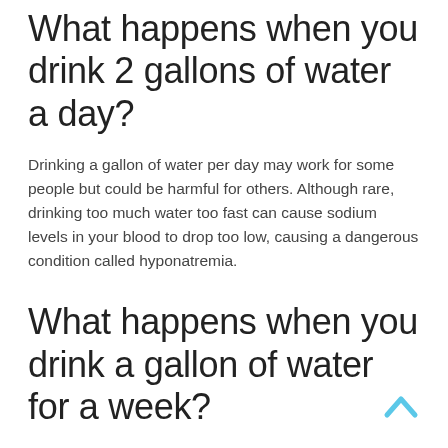What happens when you drink 2 gallons of water a day?
Drinking a gallon of water per day may work for some people but could be harmful for others. Although rare, drinking too much water too fast can cause sodium levels in your blood to drop too low, causing a dangerous condition called hyponatremia.
What happens when you drink a gallon of water for a week?